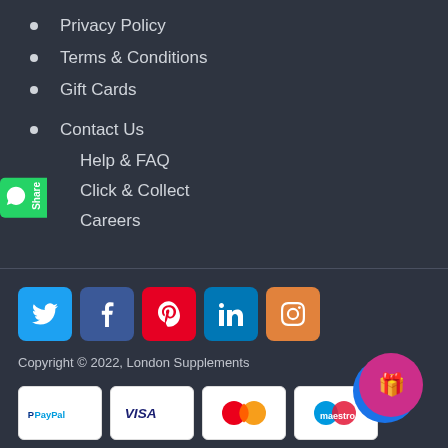Privacy Policy
Terms & Conditions
Gift Cards
Contact Us
Help & FAQ
Click & Collect
Careers
[Figure (infographic): Social media icons: Twitter (blue), Facebook (dark blue), Pinterest (red), LinkedIn (teal), Instagram (orange)]
Copyright © 2022, London Supplements
[Figure (infographic): Payment method icons: PayPal, VISA, Mastercard, Maestro]
[Figure (illustration): Green WhatsApp Share button on left side]
[Figure (illustration): Purple and blue gift/loyalty button in bottom right corner]